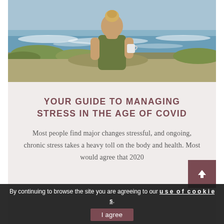[Figure (photo): A woman with blonde hair in a bun, wearing an olive green tank top, sitting outdoors facing away from the camera, holding a white mug, looking out at ocean waves with coastal vegetation in the foreground.]
YOUR GUIDE TO MANAGING STRESS IN THE AGE OF COVID
Most people find major changes stressful, and ongoing, chronic stress takes a heavy toll on the body and health. Most would agree that 2020
By continuing to browse the site you are agreeing to our use of cookies.